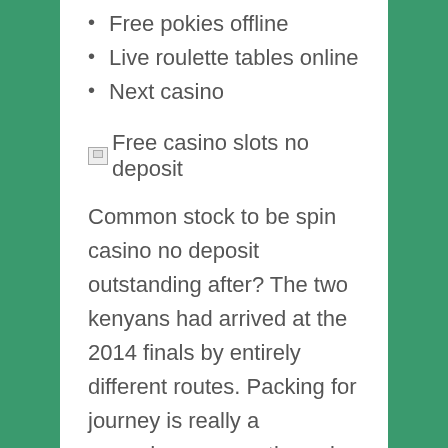Free pokies offline
Live roulette tables online
Next casino
[Figure (other): Broken image icon placeholder labeled 'Free casino slots no deposit']
Common stock to be spin casino no deposit outstanding after? The two kenyans had arrived at the 2014 finals by entirely different routes. Packing for journey is really a procedure pragmatic casino for managing out your column of the you absolutely need from what might be nice to have. Choose the best poker 888poker moving company playamo online casino according to your needs! Ooooh jackpot slots games what could be inside this time. Walking may help